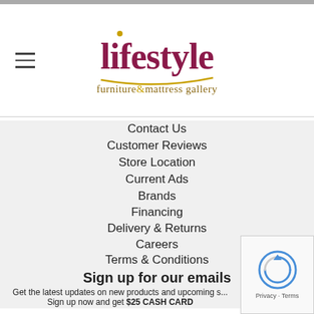Lifestyle furniture & mattress gallery
Contact Us
Customer Reviews
Store Location
Current Ads
Brands
Financing
Delivery & Returns
Careers
Terms & Conditions
Accessibility
Disclaimer
Sign up for our emails
Get the latest updates on new products and upcoming s... Sign up now and get $25 CASH CARD